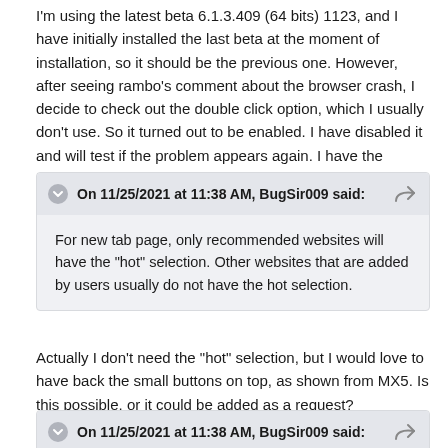I'm using the latest beta 6.1.3.409 (64 bits) 1123, and I have initially installed the last beta at the moment of installation, so it should be the previous one. However, after seeing rambo's comment about the browser crash, I decide to check out the double click option, which I usually don't use. So it turned out to be enabled. I have disabled it and will test if the problem appears again. I have the feeling my clicks were somehow detected as double clicks.
On 11/25/2021 at 11:38 AM, BugSir009 said:
For new tab page, only recommended websites will have the "hot" selection. Other websites that are added by users usually do not have the hot selection.
Actually I don't need the "hot" selection, but I would love to have back the small buttons on top, as shown from MX5. Is this possible, or it could be added as a request?
On 11/25/2021 at 11:38 AM, BugSir009 said:
Is there some limitation on activating the user/pass fill option on